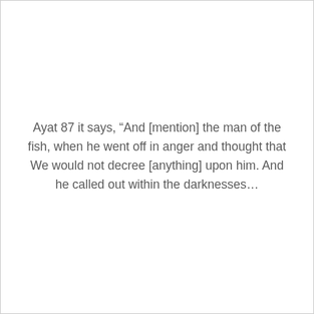Ayat 87 it says, “And [mention] the man of the fish, when he went off in anger and thought that We would not decree [anything] upon him. And he called out within the darknesses…